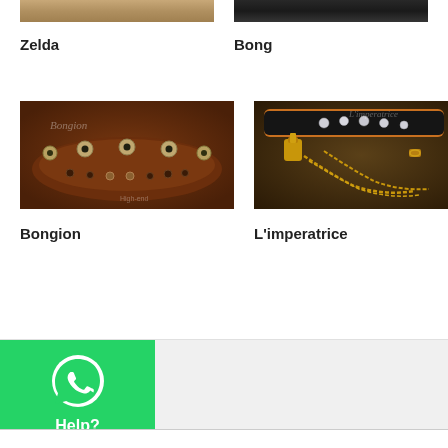[Figure (photo): Partial top image of Zelda product - cropped leather collar]
Zelda
[Figure (photo): Partial top image of Bong product - cropped leather collar]
Bong
[Figure (photo): Bongion - brown leather studded dog collar with metal rivets]
Bongion
[Figure (photo): L'imperatrice - black leather dog collar with crystal decorations and gold chain leash]
L'imperatrice
[Figure (other): WhatsApp Help button - green button with WhatsApp logo and Help? text]
Help?